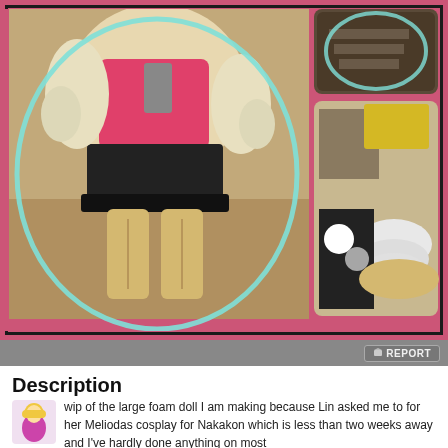[Figure (photo): Cosplay WIP photo collage showing a large foam doll in a pink top, black skirt, and tan/golden boots, displayed against carpet. Multiple photos in a pink-framed collage layout with a teal/mint oval border on main photo and smaller photos on right side.]
REPORT
Description
wip of the large foam doll I am making because Lin asked me to for her Meliodas cosplay for Nakakon which is less than two weeks away and I've hardly done anything on most